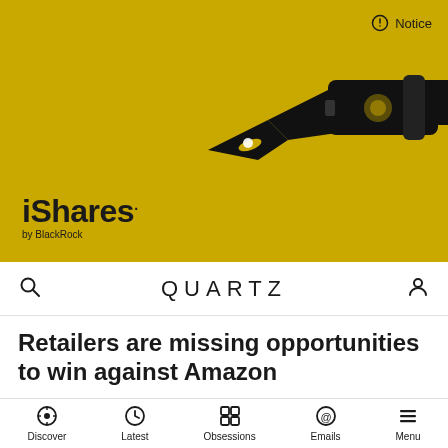[Figure (screenshot): iShares by BlackRock advertisement banner on Quartz website. Golden/yellow background with a large black fountain pen illustration on the right side. The iShares logo and 'by BlackRock' text appear in the lower left. A 'Notice' button is in the top right corner.]
QUARTZ
Retailers are missing opportunities to win against Amazon